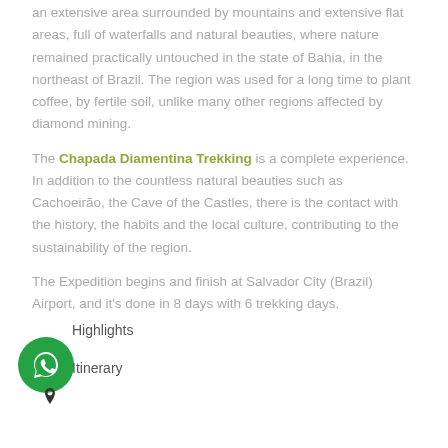an extensive area surrounded by mountains and extensive flat areas, full of waterfalls and natural beauties, where nature remained practically untouched in the state of Bahia, in the northeast of Brazil. The region was used for a long time to plant coffee, by fertile soil, unlike many other regions affected by diamond mining.
The Chapada Diamentina Trekking is a complete experience. In addition to the countless natural beauties such as Cachoeirão, the Cave of the Castles, there is the contact with the history, the habits and the local culture, contributing to the sustainability of the region.
The Expedition begins and finish at Salvador City (Brazil) Airport, and it's done in 8 days with 6 trekking days.
Highlights
Itinerary